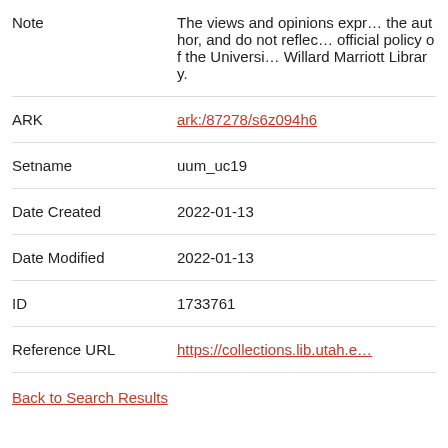Note | The views and opinions expressed are those of the author, and do not reflect the official policy of the University of Utah or the J. Willard Marriott Library.
ARK | ark:/87278/s6z094h6
Setname | uum_uc19
Date Created | 2022-01-13
Date Modified | 2022-01-13
ID | 1733761
Reference URL | https://collections.lib.utah.edu/...
Back to Search Results